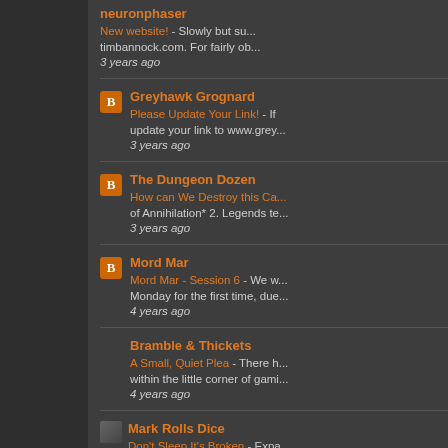neuronphaser - New website! - Slowly but su... timbannock.com. For fairly ob... - 3 years ago
Greyhawk Grognard - Please Update Your Link! - If update your link to www.grey... - 3 years ago
The Dungeon Dozen - How can We Destroy this Ca... of Annihilation* 2. Legends te... - 3 years ago
Mord Mar - Mord Mar - Session 6 - We w... Monday for the first time, due... - 4 years ago
Bramble & Thickets - A Small, Quiet Plea - There h... within the little corner of gami... - 4 years ago
Mark Rolls Dice - Don't Sleep It's Broken - Expa... is anything that makes norma... - 4 years ago
A.G.R.O.S.S. Blog